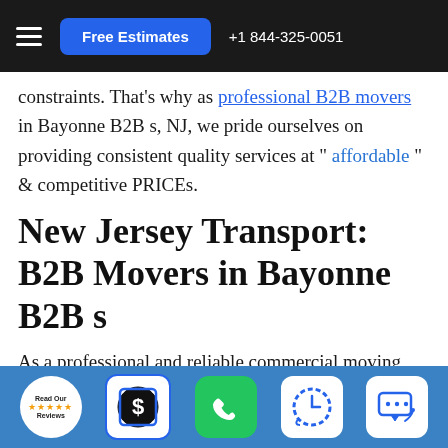Free Estimates  +1 844-325-0051
constraints. That's why as professional B2B movers in Bayonne B2B s, NJ, we pride ourselves on providing consistent quality services at " affordable " & competitive PRICEs.
New Jersey Transport: B2B Movers in Bayonne B2B s
As a professional and reliable commercial moving company serving the Bayonne B2B s, NJ Metropolitan area, we also have been providing office moving services